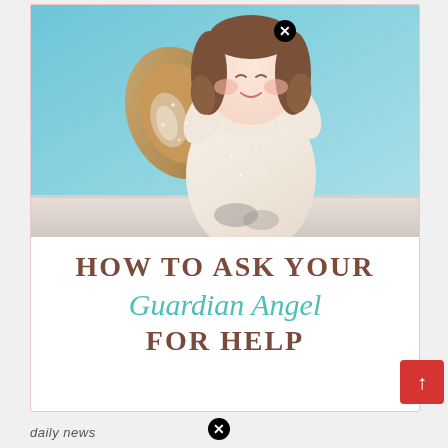[Figure (photo): A ceramic angel figurine with white glittery body, brown wings and hair, rosy cheeks, set against a light teal/blue background. The figurine is cute and chubby with hands folded.]
HOW TO ASK YOUR Guardian Angel FOR HELP
daily news